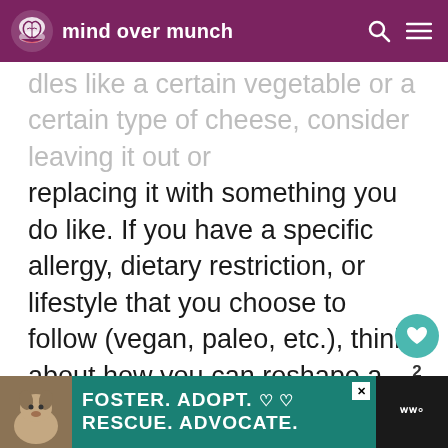mind over munch
dles like a certain vegetable or a certain type of cheese, consider leaving it out or replacing it with something you do like. If you have a specific allergy, dietary restriction, or lifestyle that you choose to follow (vegan, paleo, etc.), think about how you can reshape a recipe so you can enjoy it.
[Figure (other): Advertisement banner: dog photo on left, teal background with text FOSTER. ADOPT. RESCUE. ADVOCATE., close button, and logo on right]
[Figure (other): Floating action buttons: teal heart button, count of 2, and share button]